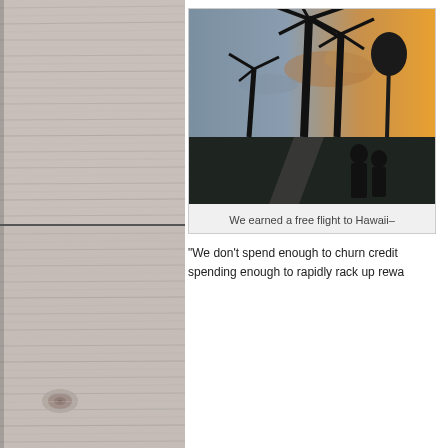[Figure (photo): Weathered pale grey wood texture, top panel]
[Figure (photo): Weathered pale grey wood texture, bottom panel with knot]
[Figure (photo): Couple standing at sunset on a Hawaiian beach walkway with palm trees silhouetted against an orange sky]
We earned a free flight to Hawaii–
“We don’t spend enough to churn credit spending enough to rapidly rack up rewa